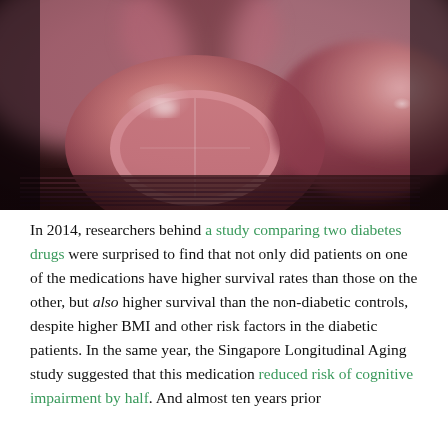[Figure (photo): Close-up macro photograph of pink/red pharmaceutical pills in blister pack packaging, with shallow depth of field creating a blurred background of more pills.]
In 2014, researchers behind a study comparing two diabetes drugs were surprised to find that not only did patients on one of the medications have higher survival rates than those on the other, but also higher survival than the non-diabetic controls, despite higher BMI and other risk factors in the diabetic patients. In the same year, the Singapore Longitudinal Aging study suggested that this medication reduced risk of cognitive impairment by half. And almost ten years prior